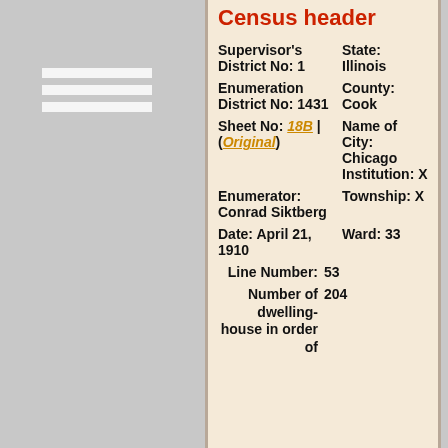Census header
Supervisor's District No: 1
State: Illinois
Enumeration District No: 1431
County: Cook
Sheet No: 18B | (Original)
Name of City: Chicago Institution: X
Enumerator: Conrad Siktberg
Township: X
Date: April 21, 1910
Ward: 33
Line Number: 53
Number of dwelling-house in order of 204